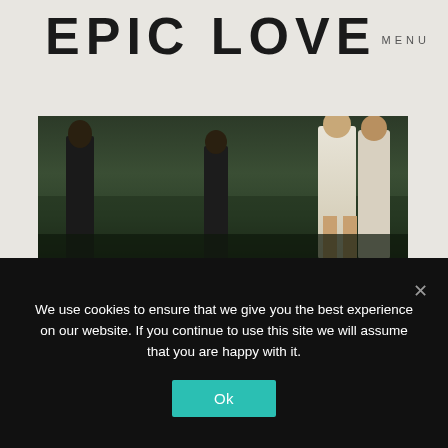EPIC LOVE
MENU
[Figure (photo): Outdoor photograph showing a couple in a field or meadow with green grass/vegetation, one person wearing a white dress]
I've found that 99.99% of couples that elope have serious wanderlust, they love exploring & seeing new places. This is why eloping is such a natural decision for them. Surely the most important day of their lives should include their passion for
We use cookies to ensure that we give you the best experience on our website. If you continue to use this site we will assume that you are happy with it.
Ok